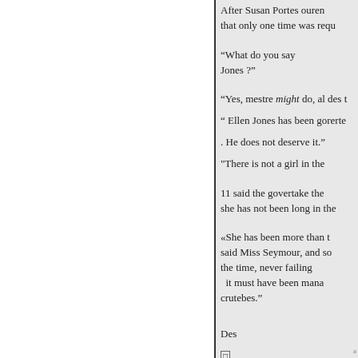After Susan Portes ouren that only one time was requ
“What do you say Jones ?”
“Yes, mestre might do, al des t
“ Ellen Jones has been gorerte
. He does not deserve it.”
"There is not a girl in the
11 said the govertake the she has not been long in the
«She has been more than t said Miss Seymour, and so the time, never failing it must have been mana crutebes.”
Des
□